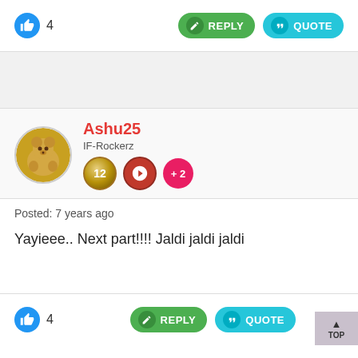4   REPLY   QUOTE
Ashu25
IF-Rockerz
Posted: 7 years ago
Yayieee.. Next part!!!! Jaldi jaldi jaldi
4   REPLY   QUOTE